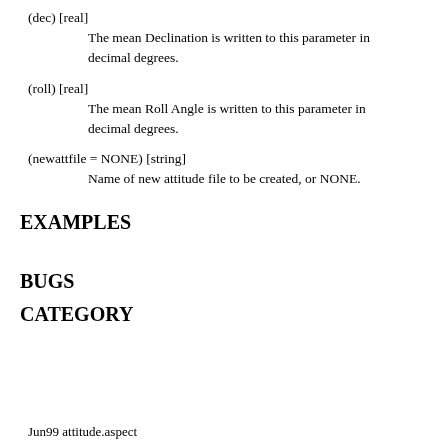(dec) [real]
    The mean Declination is written to this parameter in decimal degrees.
(roll) [real]
    The mean Roll Angle is written to this parameter in decimal degrees.
(newattfile = NONE) [string]
    Name of new attitude file to be created, or NONE.
EXAMPLES
BUGS
CATEGORY
Jun99 attitude.aspect